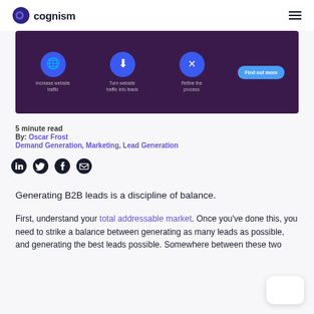cognism
[Figure (infographic): Dark purple banner with three circular blue icons representing: Increase website traffic, Turn website traffic into leads, Refine the process. A blue 'Find out more' button on the right.]
5 minute read
By: Oscar Frost
Demand Generation, Marketing, Lead Generation
[Figure (infographic): Social sharing icons: LinkedIn, Twitter, Facebook, Email]
Generating B2B leads is a discipline of balance.
First, understand your total addressable market. Once you’ve done this, you need to strike a balance between generating as many leads as possible, and generating the best leads possible. Somewhere between these two